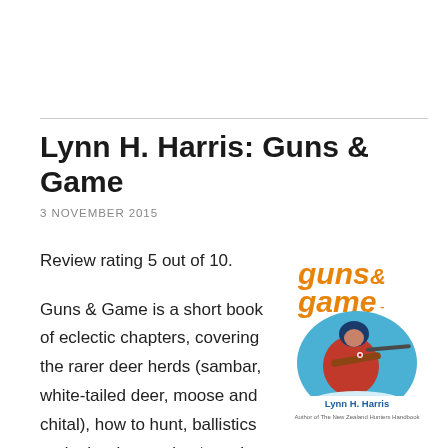Lynn H. Harris: Guns & Game
3 NOVEMBER 2015
Review rating 5 out of 10.
[Figure (illustration): Book cover for 'Guns & Game' by Lynn H. Harris. Shows orange/yellow stylized text 'guns & game' at top, an illustration of a hunter in red jacket aiming a rifle, with blue background. Author name 'Lynn H. Harris' and subtitle 'Author of The New Zealand Hunters Handbook' at bottom.]
Guns & Game is a short book of eclectic chapters, covering the rarer deer herds (sambar, white-tailed deer, moose and chital), how to hunt, ballistics and other interesting ‘guns’ and ‘game’ subjects. It is written by the experienced and respected author, Lynn Harris … read more